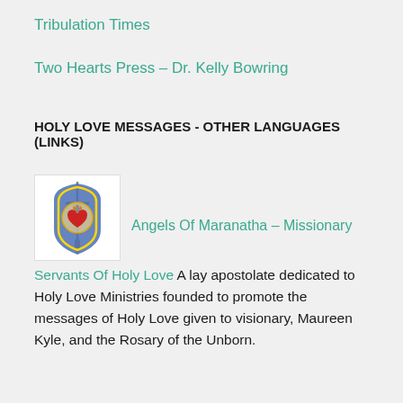Tribulation Times
Two Hearts Press – Dr. Kelly Bowring
HOLY LOVE MESSAGES - OTHER LANGUAGES (LINKS)
[Figure (logo): Shield/crest logo with a sword and sacred heart, blue and red colors, white background — Angels Of Maranatha – Missionary Servants Of Holy Love]
Angels Of Maranatha – Missionary Servants Of Holy Love A lay apostolate dedicated to Holy Love Ministries founded to promote the messages of Holy Love given to visionary, Maureen Kyle, and the Rosary of the Unborn.